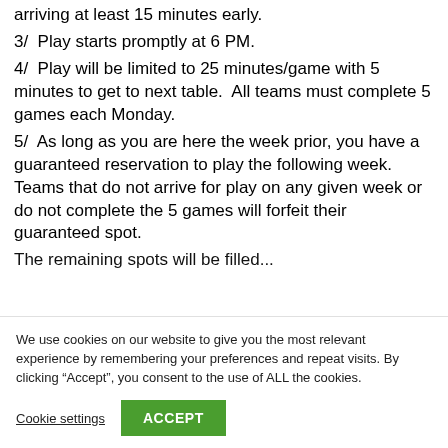arriving at least 15 minutes early.
3/  Play starts promptly at 6 PM.
4/  Play will be limited to 25 minutes/game with 5 minutes to get to next table.  All teams must complete 5 games each Monday.
5/  As long as you are here the week prior, you have a guaranteed reservation to play the following week. Teams that do not arrive for play on any given week or do not complete the 5 games will forfeit their guaranteed spot. The remaining spots will be filled...
We use cookies on our website to give you the most relevant experience by remembering your preferences and repeat visits. By clicking “Accept”, you consent to the use of ALL the cookies.
Cookie settings  ACCEPT